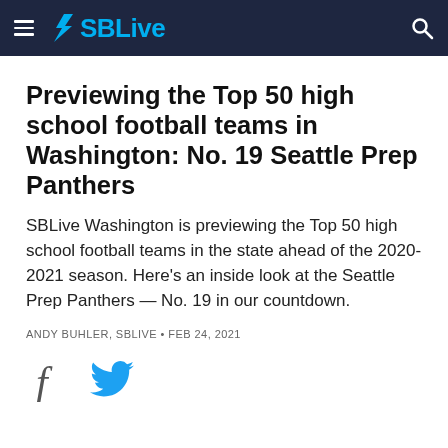SBLive
Previewing the Top 50 high school football teams in Washington: No. 19 Seattle Prep Panthers
SBLive Washington is previewing the Top 50 high school football teams in the state ahead of the 2020-2021 season. Here's an inside look at the Seattle Prep Panthers — No. 19 in our countdown.
ANDY BUHLER, SBLIVE · FEB 24, 2021
[Figure (other): Social media sharing icons: Facebook and Twitter]